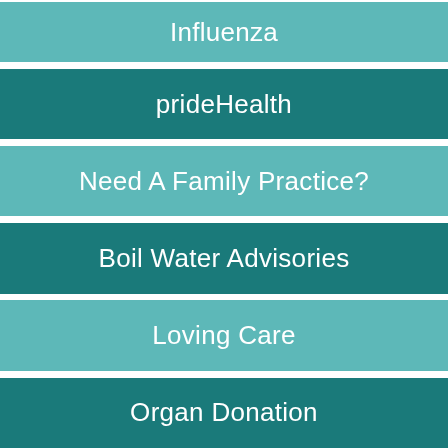Influenza
prideHealth
Need A Family Practice?
Boil Water Advisories
Loving Care
Organ Donation